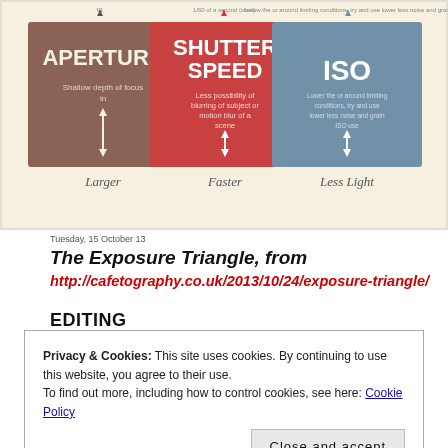[Figure (infographic): The Exposure Triangle infographic showing three columns: Aperture (brown), Shutter Speed (red/coral), and ISO (blue-grey), each with up/down arrows indicating effect ranges. Labels at bottom: Larger, Faster, Less Light.]
Tuesday, 15 October 13
The Exposure Triangle, from
http://cafetography.co.uk/2013/10/24/exposure-triangle/
EDITING
I use a combination of Adobe Lightroom and Photoshop when I'm editing. There are other options, but these are the ones I've always used. Unless you have the physical software from a few
Privacy & Cookies: This site uses cookies. By continuing to use this website, you agree to their use.
To find out more, including how to control cookies, see here: Cookie Policy